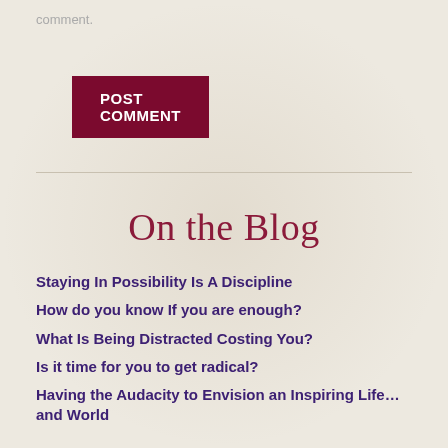comment.
POST COMMENT
On the Blog
Staying In Possibility Is A Discipline
How do you know If you are enough?
What Is Being Distracted Costing You?
Is it time for you to get radical?
Having the Audacity to Envision an Inspiring Life… and World